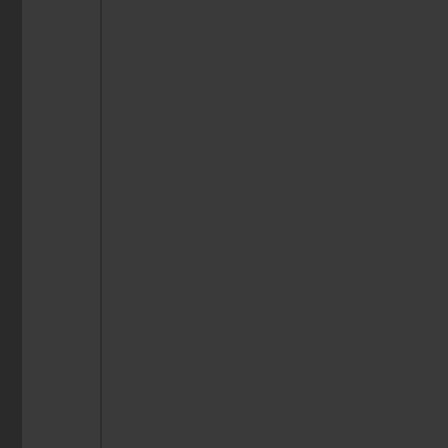giving this special piece of land the responsibility and conditions required says: Matthew Schneider of the Brownies Sierra Club
One potential victory for ATV